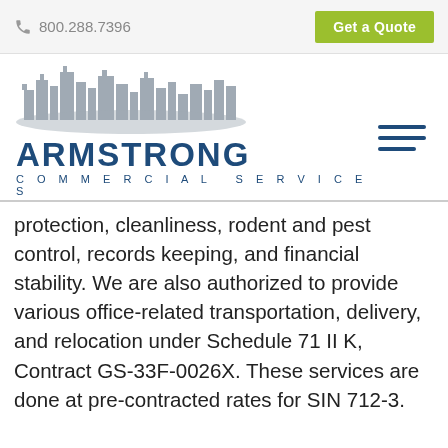800.288.7396   Get a Quote
[Figure (logo): Armstrong Commercial Services logo with cityscape graphic and company name]
protection, cleanliness, rodent and pest control, records keeping, and financial stability. We are also authorized to provide various office-related transportation, delivery, and relocation under Schedule 71 II K, Contract GS-33F-0026X. These services are done at pre-contracted rates for SIN 712-3.